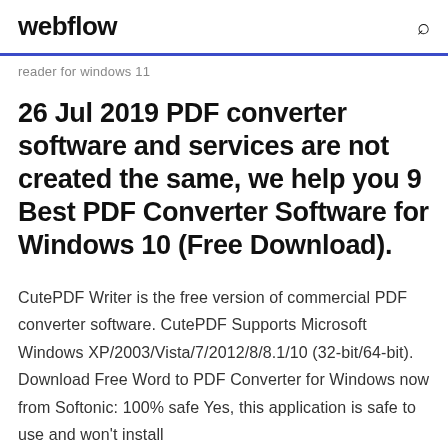webflow
reader for windows 11
26 Jul 2019 PDF converter software and services are not created the same, we help you 9 Best PDF Converter Software for Windows 10 (Free Download).
CutePDF Writer is the free version of commercial PDF converter software. CutePDF Supports Microsoft Windows XP/2003/Vista/7/2012/8/8.1/10 (32-bit/64-bit). Download Free Word to PDF Converter for Windows now from Softonic: 100% safe Yes, this application is safe to use and won't install